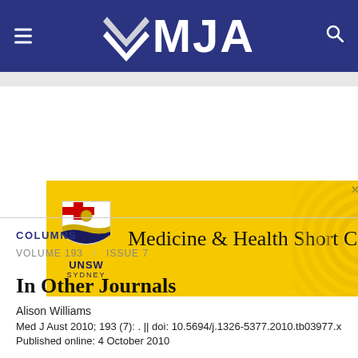MJA
[Figure (logo): UNSW Sydney logo with shield and text, on yellow banner reading 'Medicine & Health Short C']
COLUMNS
VOLUME 193 / ISSUE 7
In Other Journals
Alison Williams
Med J Aust 2010; 193 (7): . || doi: 10.5694/j.1326-5377.2010.tb03977.x
Published online: 4 October 2010